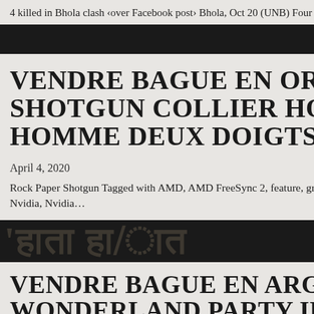4 killed in Bhola clash ‹over Facebook post› Bhola, Oct 20 (UNB) Four peop
VENDRE BAGUE EN OR BLANC SHOTGUN COLLIER HOMME CU HOMME DEUX DOIGTS-DQSVU
April 4, 2020
Rock Paper Shotgun Tagged with AMD, AMD FreeSync 2, feature, graphics Nvidia, Nvidia…
[Figure (other): Dark band with large bold text in a dark/muted serif font, partially visible, appearing to show non-Latin script]
VENDRE BAGUE EN ARGENT 2… WONDERLAND PARTY IDEAS B BLANC DIAMANT TAILLE 4…